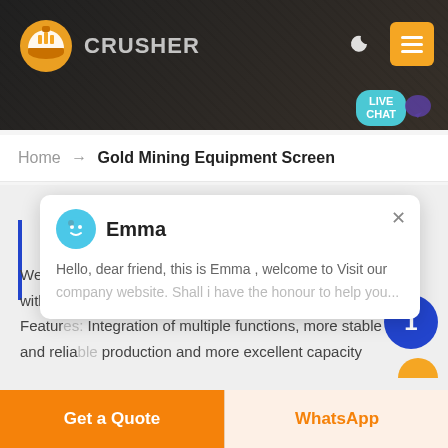[Figure (screenshot): Website header banner with dark rocky background, company logo (yellow hard hat icon), 'CRUSHER' text, moon icon, orange menu button, and teal live chat bubble.]
Home → Gold Mining Equipment Screen
Emma
Hello, dear friend, this is Emma , welcome to Visit our company website. Shall i have the honour to help you...
We have successively launched vertical mill products with independent intellectual property rights. Product Features: Integration of multiple functions, more stable and reliable production and more excellent capacity
Get a Quote
WhatsApp